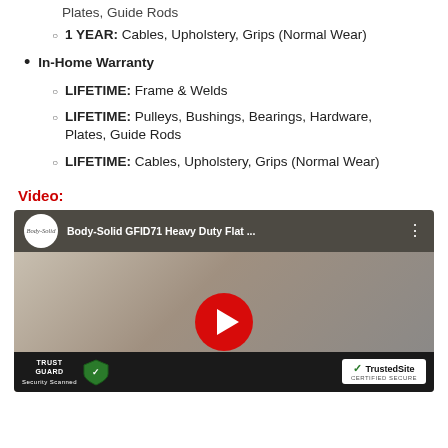Plates, Guide Rods (partial, top of page, 1 YEAR sub-item)
1 YEAR: Cables, Upholstery, Grips (Normal Wear)
In-Home Warranty
LIFETIME: Frame & Welds
LIFETIME: Pulleys, Bushings, Bearings, Hardware, Plates, Guide Rods
LIFETIME: Cables, Upholstery, Grips (Normal Wear)
Video:
[Figure (screenshot): YouTube video thumbnail for Body-Solid GFID71 Heavy Duty Flat ... with play button, Trust Guard and TrustedSite badges at bottom]